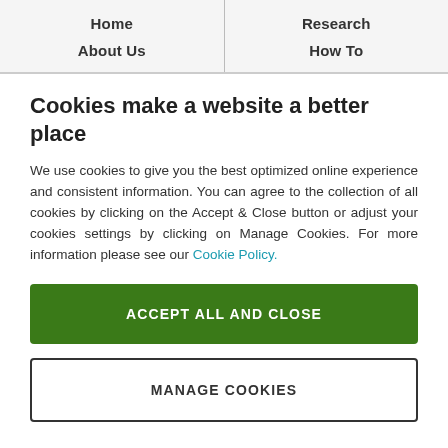Home | Research | About Us | How To
Cookies make a website a better place
We use cookies to give you the best optimized online experience and consistent information. You can agree to the collection of all cookies by clicking on the Accept & Close button or adjust your cookies settings by clicking on Manage Cookies. For more information please see our Cookie Policy.
ACCEPT ALL AND CLOSE
MANAGE COOKIES